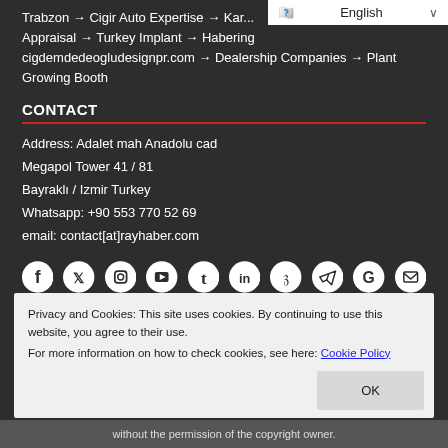Trabzon → Cigir Auto Expertise → Kar... Appraisal → Turkey Implant → Habering cigdemdedeogludesignpr.com → Dealership Companies → Plant Growing Booth
CONTACT
Address: Adalet mah Anadolu cad
Megapol Tower 41 / 81
Bayraklı / Izmir Turkey
Whatsapp: +90 553 770 52 69
email: contact[at]rayhaber.com
[Figure (infographic): Row of social media icons: Facebook, Twitter, Instagram, YouTube, Tumblr, LinkedIn, Pinterest, Telegram, Google, Email]
Privacy and Cookies: This site uses cookies. By continuing to use this website, you agree to their use.
For more information on how to check cookies, see here: Cookie Policy
without the permission of the copyright owner.